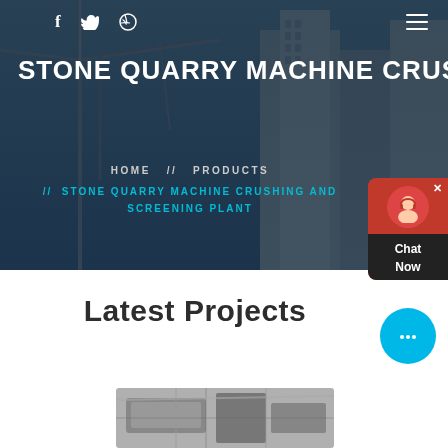STONE QUARRY MACHINE CRUS
HOME // PRODUCTS // STONE QUARRY MACHINE CRUSHING AND SCREENING PLANT
Latest Projects
[Figure (photo): Industrial crushing and screening plant machinery inside a facility]